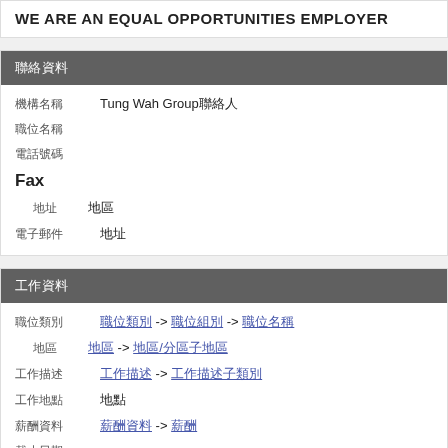WE ARE AN EQUAL OPPORTUNITIES EMPLOYER
聯絡資料
機構名稱  Tung Wah Group聯絡人
職位名稱
電話號碼
Fax
地址  地區
電子郵件  地址
工作資料
職位類別  職位類別 -> 職位組別 -> 職位名稱
地區  地區 -> 地區/分區子地區
工作描述  工作描述 -> 工作描述子類別
工作地點  地點
薪酬資料  薪酬資料 -> 薪酬
截止日期